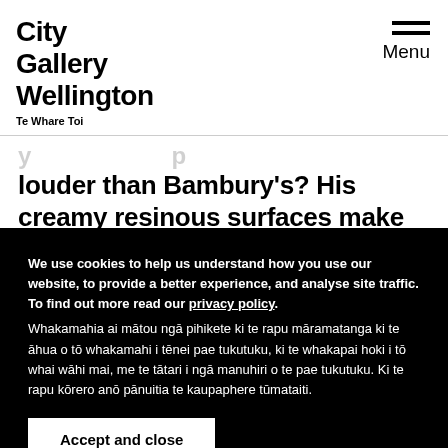City Gallery Wellington Te Whare Toi | Menu
louder than Bambury's? His creamy resinous surfaces make you want to lick them. His
We use cookies to help us understand how you use our website, to provide a better experience, and analyse site traffic. To find out more read our privacy policy. Whakamahia ai mātou ngā pihikete ki te rapu māramatanga ki te āhua o tō whakamahi i tēnei pae tukutuku, ki te whakapai hoki i tō whai wāhi mai, me te tātari i ngā manuhiri o te pae tukutuku. Ki te rapu kōrero anō pānuitia te kaupaphere tūmataiti.
Accept and close